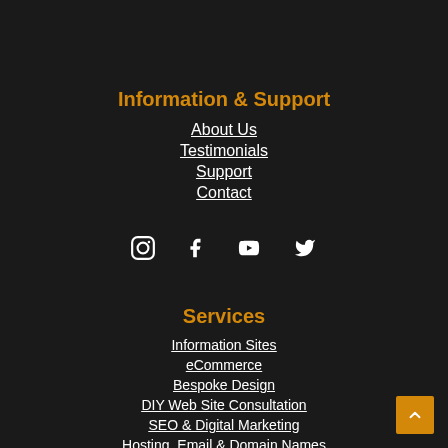Information & Support
About Us
Testimonials
Support
Contact
[Figure (infographic): Social media icons: Instagram, Facebook, YouTube, Twitter]
Services
Information Sites
eCommerce
Bespoke Design
DIY Web Site Consultation
SEO & Digital Marketing
Hosting, Email & Domain Names